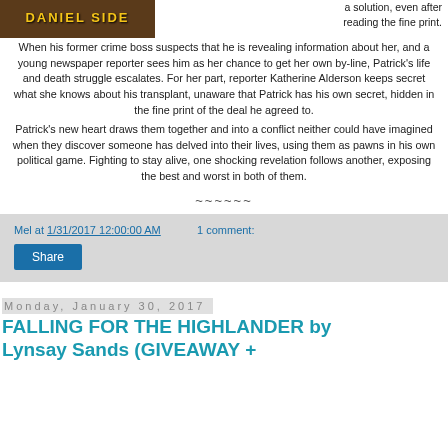[Figure (photo): Book cover for a novel by Daniel Side with yellow title text on dark background]
a solution, even after reading the fine print.
When his former crime boss suspects that he is revealing information about her, and a young newspaper reporter sees him as her chance to get her own by-line, Patrick's life and death struggle escalates. For her part, reporter Katherine Alderson keeps secret what she knows about his transplant, unaware that Patrick has his own secret, hidden in the fine print of the deal he agreed to.
Patrick's new heart draws them together and into a conflict neither could have imagined when they discover someone has delved into their lives, using them as pawns in his own political game.  Fighting to stay alive, one shocking revelation follows another, exposing the best and worst in both of them.
~~~~~~
Mel at 1/31/2017 12:00:00 AM    1 comment:
Share
Monday, January 30, 2017
FALLING FOR THE HIGHLANDER by Lynsay Sands (GIVEAWAY +